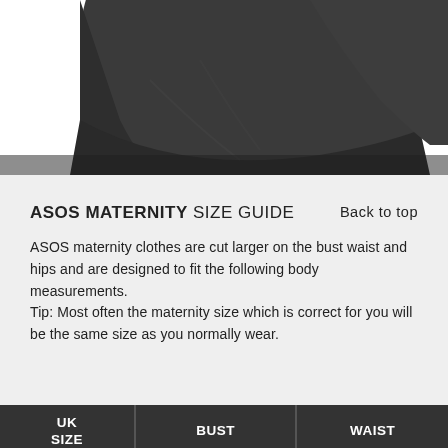[Figure (photo): Partial view of a dark grey/black maternity top or dress, showing the lower hem area against a white background]
ASOS MATERNITY SIZE GUIDE
ASOS maternity clothes are cut larger on the bust waist and hips and are designed to fit the following body measurements.
Tip: Most often the maternity size which is correct for you will be the same size as you normally wear.
| UK SIZE | BUST | WAIST |
| --- | --- | --- |